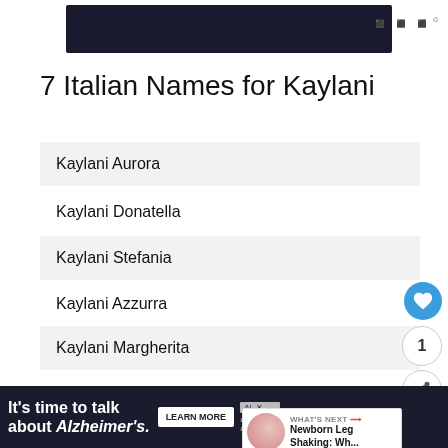[Figure (screenshot): Dark top banner/header image with logo marks]
7 Italian Names for Kaylani
Kaylani Aurora
Kaylani Donatella
Kaylani Stefania
Kaylani Azzurra
Kaylani Margherita
Kaylani Camilla
Kaylani Giulia
7 German Names for Kaylani
[Figure (screenshot): Bottom advertisement banner: It's time to talk about Alzheimer's.]